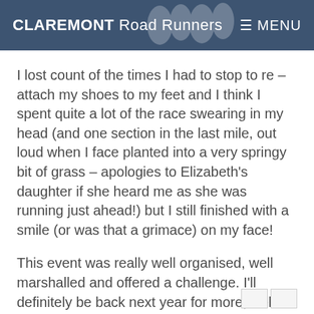CLAREMONT Road Runners  ≡ MENU
I lost count of the times I had to stop to re – attach my shoes to my feet and I think I spent quite a lot of the race swearing in my head (and one section in the last mile, out loud when I face planted into a very springy bit of grass – apologies to Elizabeth's daughter if she heard me as she was running just ahead!) but I still finished with a smile (or was that a grimace) on my face!
This event was really well organised, well marshalled and offered a challenge. I'll definitely be back next year for more, well if my shoes have dried out by then!
April 20, 2015